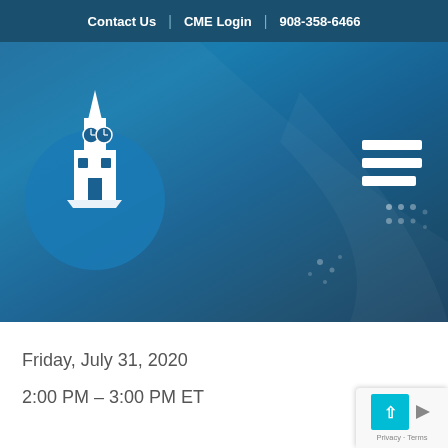Contact Us | CME Login | 908-358-6466
[Figure (screenshot): Hospital or institution logo — white icon of a clock tower building inside a circular blue badge on a teal/blue gradient hero banner background, with a hamburger menu icon at the right]
Friday, July 31, 2020
2:00 PM – 3:00 PM ET